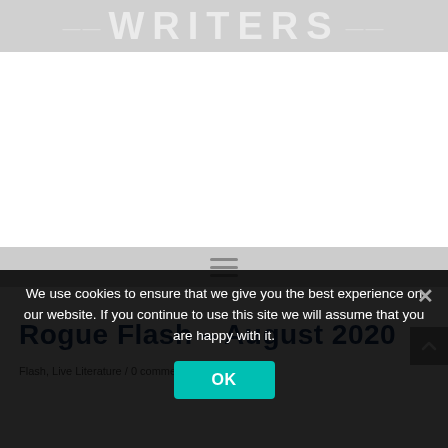WRITERS
[Figure (screenshot): Website navigation hamburger menu icon (three horizontal lines) on a light grey background]
Rogue Flash – August 2020
Flash, Live Literature / 0 comment
We use cookies to ensure that we give you the best experience on our website. If you continue to use this site we will assume that you are happy with it.
OK